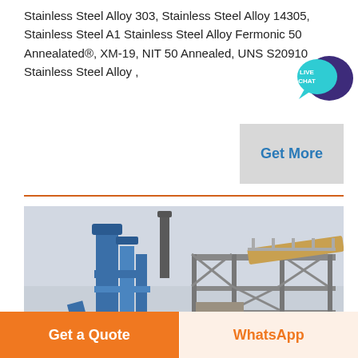Stainless Steel Alloy 303, Stainless Steel Alloy 14305, Stainless Steel A1 Stainless Steel Alloy Fermonic 50 Annealated®, XM-19, NIT 50 Annealed, UNS S20910 Stainless Steel Alloy ,
[Figure (other): Live Chat bubble icon — teal speech bubble with dark purple larger bubble and white text LIVE CHAT]
[Figure (other): Get More button — gray rectangle with blue bold text 'Get More']
[Figure (photo): Industrial facility photograph showing blue piping, structural steel framework, conveyor systems and industrial equipment against a pale sky background]
Get a Quote
WhatsApp